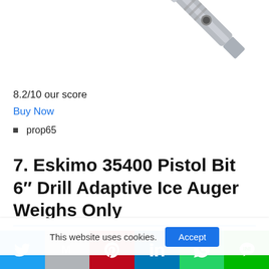[Figure (photo): Metal drill bit component (pistol bit / auger adapter) shown diagonally against white background]
8.2/10 our score
Buy Now
prop65
7. Eskimo 35400 Pistol Bit 6″ Drill Adaptive Ice Auger Weighs Only
This website uses cookies. Accept
[Figure (infographic): Social media share bar with Twitter, Gmail/M, Pinterest, LinkedIn, WhatsApp, and LINE buttons]